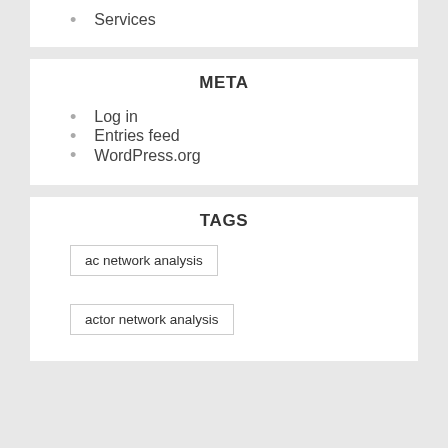Services
META
Log in
Entries feed
WordPress.org
TAGS
ac network analysis
actor network analysis